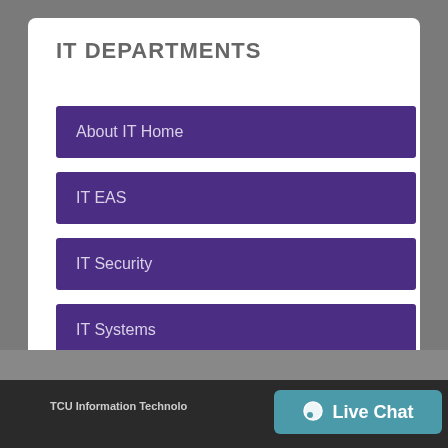IT DEPARTMENTS
About IT Home
IT EAS
IT Security
IT Systems
IT Support @ TCU
Technical Services
TCU Information Technology   Live Chat